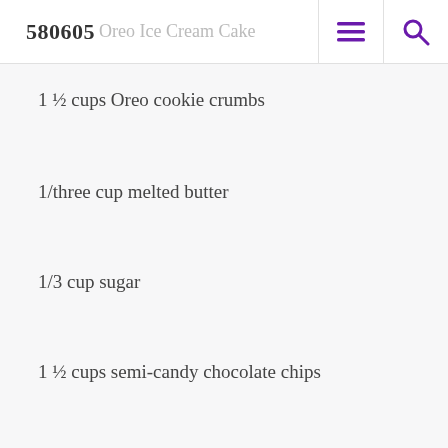580605 Oreo Ice Cream Cake
1 ½ cups Oreo cookie crumbs
1/three cup melted butter
1/3 cup sugar
1 ½ cups semi-candy chocolate chips
½ cup whipping cream